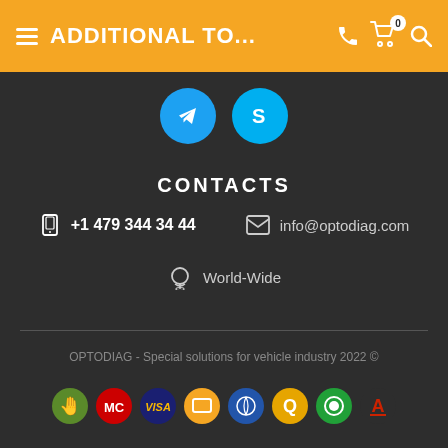ADDITIONAL TO...
[Figure (screenshot): Social icons: Telegram and Skype circular buttons]
CONTACTS
+1 479 344 34 44
info@optodiag.com
World-Wide
OPTODIAG - Special solutions for vehicle industry 2022 ©
[Figure (logo): Payment method icons: hand/cash, MasterCard, Visa, card, globe, Q-symbol, Sberbank, AutoPay]